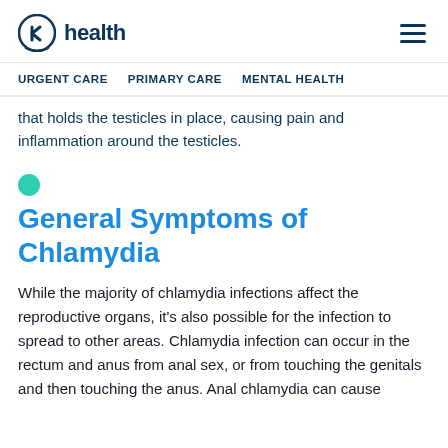k health
URGENT CARE   PRIMARY CARE   MENTAL HEALTH
that holds the testicles in place, causing pain and inflammation around the testicles.
General Symptoms of Chlamydia
While the majority of chlamydia infections affect the reproductive organs, it's also possible for the infection to spread to other areas. Chlamydia infection can occur in the rectum and anus from anal sex, or from touching the genitals and then touching the anus. Anal chlamydia can cause